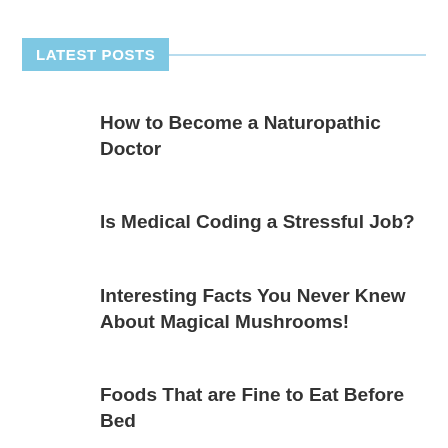LATEST POSTS
How to Become a Naturopathic Doctor
Is Medical Coding a Stressful Job?
Interesting Facts You Never Knew About Magical Mushrooms!
Foods That are Fine to Eat Before Bed